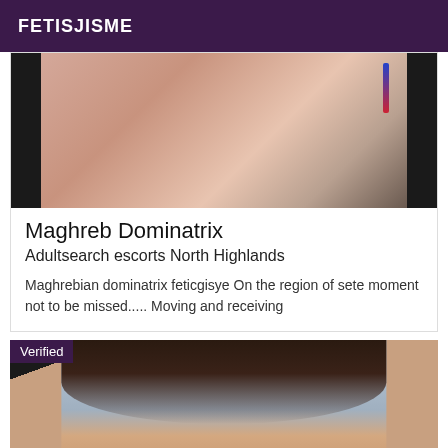FETISJISME
[Figure (photo): Close-up photo of skin/body against dark background with a small pen or marker visible in upper right]
Maghreb Dominatrix
Adultsearch escorts North Highlands
Maghrebian dominatrix feticgisye On the region of sete moment not to be missed..... Moving and receiving
[Figure (photo): Photo of a woman with dark hair looking downward, with a 'Verified' badge overlay in the top-left corner]